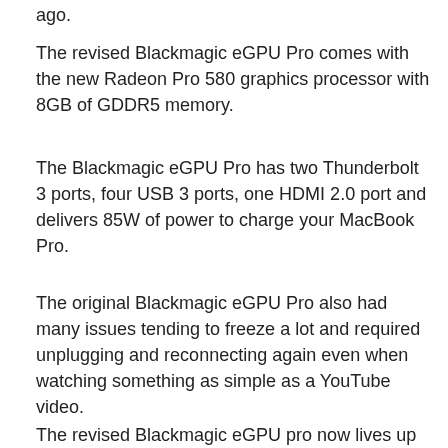ago.
The revised Blackmagic eGPU Pro comes with the new Radeon Pro 580 graphics processor with 8GB of GDDR5 memory.
The Blackmagic eGPU Pro has two Thunderbolt 3 ports, four USB 3 ports, one HDMI 2.0 port and delivers 85W of power to charge your MacBook Pro.
The original Blackmagic eGPU Pro also had many issues tending to freeze a lot and required unplugging and reconnecting again even when watching something as simple as a YouTube video.
The revised Blackmagic eGPU pro now lives up